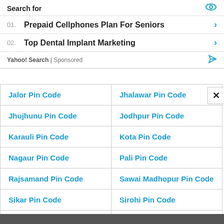Search for
01. Prepaid Cellphones Plan For Seniors
02. Top Dental Implant Marketing
Yahoo! Search | Sponsored
| Jalor Pin Code | Jhalawar Pin Code |
| Jhujhunu Pin Code | Jodhpur Pin Code |
| Karauli Pin Code | Kota Pin Code |
| Nagaur Pin Code | Pali Pin Code |
| Rajsamand Pin Code | Sawai Madhopur Pin Code |
| Sikar Pin Code | Sirohi Pin Code |
| Tonk Pin Code | Udaipur Pin Code |